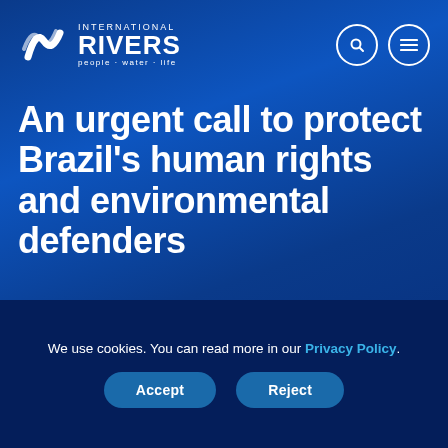[Figure (logo): International Rivers logo — white stylized river/wave icon with text 'INTERNATIONAL RIVERS people · water · life']
An urgent call to protect Brazil's human rights and environmental defenders
BACK TO RESOURCES
We use cookies. You can read more in our Privacy Policy.
Accept
Reject